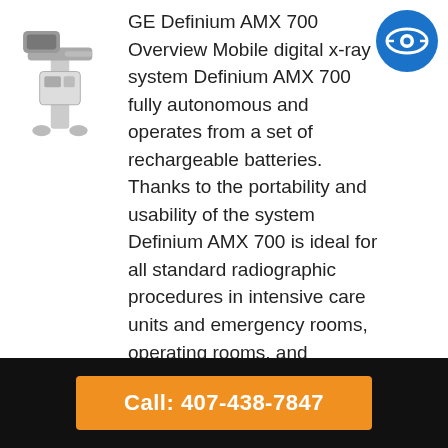[Figure (photo): GE Definium AMX 700 mobile digital x-ray machine illustration]
GE Definium AMX 700 Overview Mobile digital x-ray system Definium AMX 700 fully autonomous and operates from a set of rechargeable batteries. Thanks to the portability and usability of the system Definium AMX 700 is ideal for all standard radiographic procedures in intensive care units and emergency rooms, operating rooms, and children's orthopedic offices … Read more
GE AMX 4+ Portable X-Ray Machine
GE AMX 4+ Overview When you need to
Call: 407-438-7847